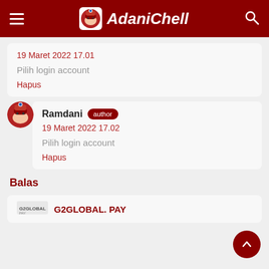AdaniChell
19 Maret 2022 17.01
Pilih login account
Hapus
Ramdani author
19 Maret 2022 17.02
Pilih login account
Hapus
Balas
G2GLOBAL. PAY